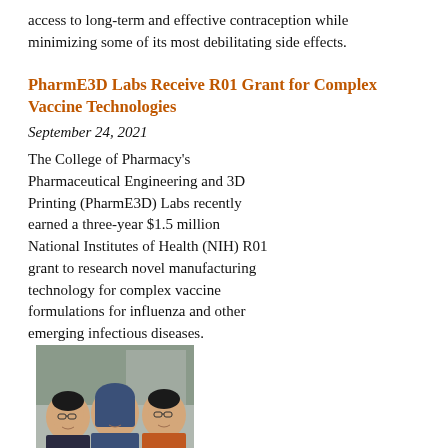access to long-term and effective contraception while minimizing some of its most debilitating side effects.
PharmE3D Labs Receive R01 Grant for Complex Vaccine Technologies
September 24, 2021
The College of Pharmacy's Pharmaceutical Engineering and 3D Printing (PharmE3D) Labs recently earned a three-year $1.5 million National Institutes of Health (NIH) R01 grant to research novel manufacturing technology for complex vaccine formulations for influenza and other emerging infectious diseases.
[Figure (photo): Three women standing together in a laboratory setting, smiling at camera]
PharmE3D Labs Earn Multiple Pharmaceutical Science Distinctions
September 10, 2021
The college's
[Figure (photo): Three men photographed together, partial view at bottom of page]